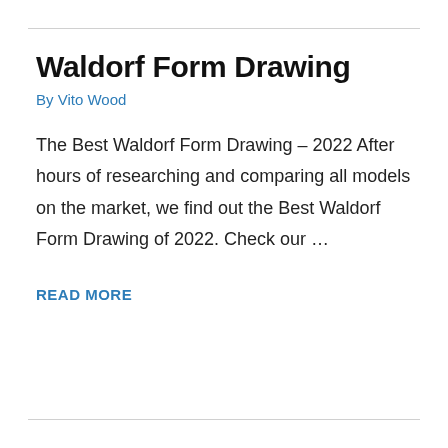Waldorf Form Drawing
By Vito Wood
The Best Waldorf Form Drawing – 2022 After hours of researching and comparing all models on the market, we find out the Best Waldorf Form Drawing of 2022. Check our …
READ MORE